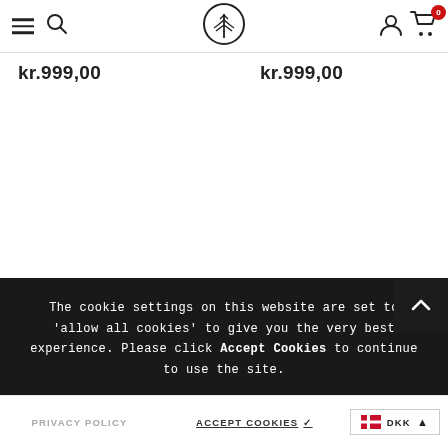Navigation bar with hamburger menu, search icon, logo, user icon, and cart (0)
kr.999,00
kr.999,00
The cookie settings on this website are set to 'allow all cookies' to give you the very best experience. Please click Accept Cookies to continue to use the site.
PRIVACY POLICY
ACCEPT COOKIES ✓
DKK